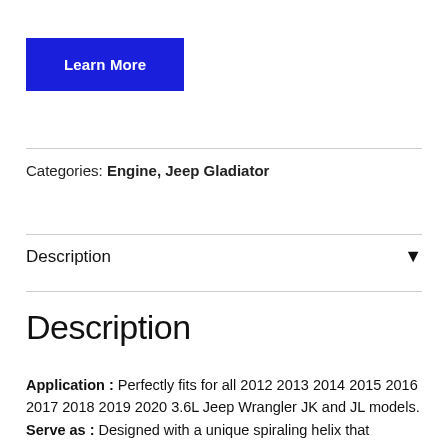[Figure (other): Blue 'Learn More' button]
Categories: Engine, Jeep Gladiator
Description
Description
Application : Perfectly fits for all 2012 2013 2014 2015 2016 2017 2018 2019 2020 3.6L Jeep Wrangler JK and JL models. Serve as : Designed with a unique spiraling helix that